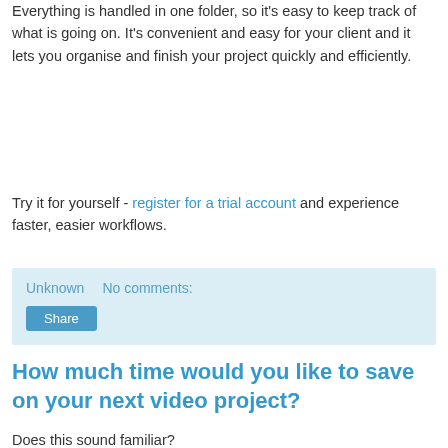Everything is handled in one folder, so it's easy to keep track of what is going on. It's convenient and easy for your client and it lets you organise and finish your project quickly and efficiently.
Try it for yourself - register for a trial account and experience faster, easier workflows.
Unknown    No comments:
Share
How much time would you like to save on your next video project?
Does this sound familiar?